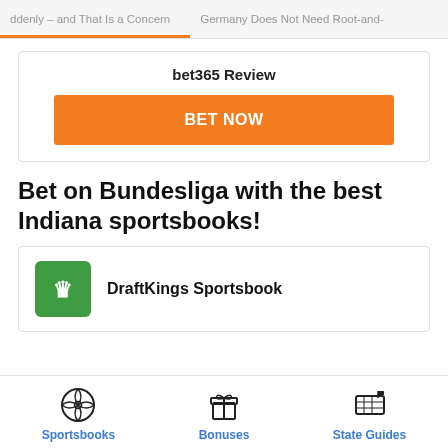ddenly – and That Is a Concern    Germany Does Not Need Root-and-
bet365 Review
[Figure (other): Orange BET NOW button]
Bet on Bundesliga with the best Indiana sportsbooks!
[Figure (logo): DraftKings Sportsbook logo — green square with crown/spade icon]
DraftKings Sportsbook
[Figure (infographic): Bottom navigation bar with three icons: Sportsbooks (soccer ball), Bonuses (gift box), State Guides (US map with flag)]